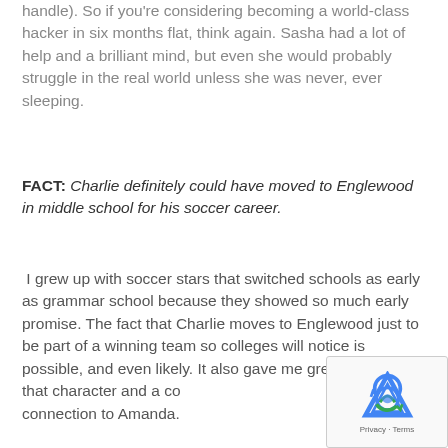handle). So if you're considering becoming a world-class hacker in six months flat, think again. Sasha had a lot of help and a brilliant mind, but even she would probably struggle in the real world unless she was never, ever sleeping.
FACT: Charlie definitely could have moved to Englewood in middle school for his soccer career.
I grew up with soccer stars that switched schools as early as grammar school because they showed so much early promise. The fact that Charlie moves to Englewood just to be part of a winning team so colleges will notice is possible, and even likely. It also gave me great stakes for that character and a connection to Amanda.